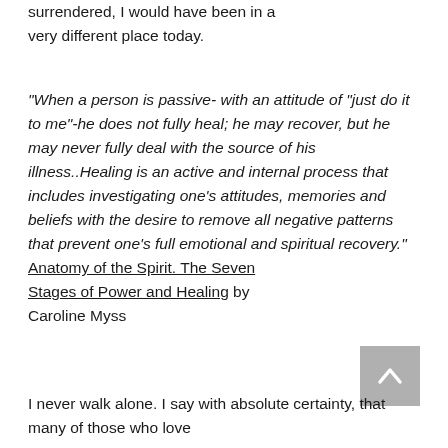surrendered, I would have been in a very different place today.
"When a person is passive- with an attitude of "just do it to me"-he does not fully heal; he may recover, but he may never fully deal with the source of his illness..Healing is an active and internal process that includes investigating one's attitudes, memories and beliefs with the desire to remove all negative patterns that prevent one's full emotional and spiritual recovery." Anatomy of the Spirit. The Seven Stages of Power and Healing by Caroline Myss
I never walk alone. I say with absolute certainty, that many of those who love